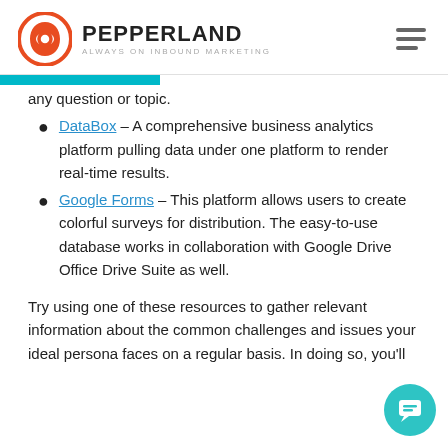PEPPERLAND — ALWAYS ON INBOUND MARKETING
any question or topic.
DataBox – A comprehensive business analytics platform pulling data under one platform to render real-time results.
Google Forms – This platform allows users to create colorful surveys for distribution. The easy-to-use database works in collaboration with Google Drive Office Drive Suite as well.
Try using one of these resources to gather relevant information about the common challenges and issues your ideal persona faces on a regular basis. In doing so, you'll